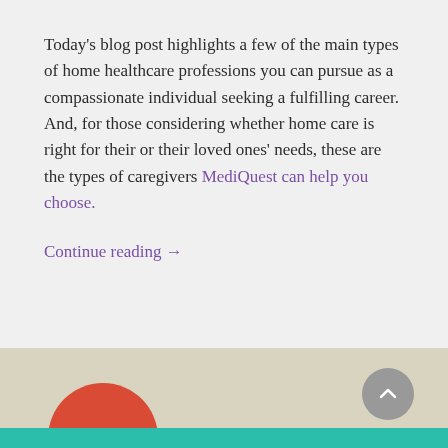Today's blog post highlights a few of the main types of home healthcare professions you can pursue as a compassionate individual seeking a fulfilling career. And, for those considering whether home care is right for their or their loved ones' needs, these are the types of caregivers MediQuest can help you choose.
Continue reading →
← Older posts